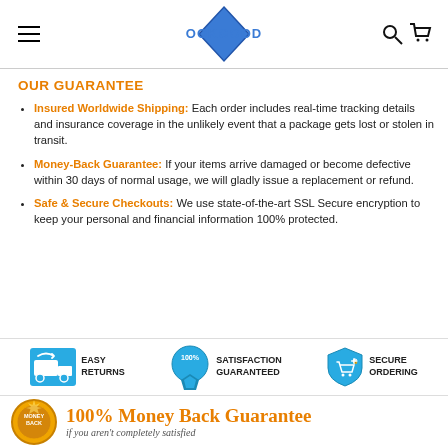OOKGOOD
OUR GUARANTEE
Insured Worldwide Shipping: Each order includes real-time tracking details and insurance coverage in the unlikely event that a package gets lost or stolen in transit.
Money-Back Guarantee: If your items arrive damaged or become defective within 30 days of normal usage, we will gladly issue a replacement or refund.
Safe & Secure Checkouts: We use state-of-the-art SSL Secure encryption to keep your personal and financial information 100% protected.
[Figure (infographic): Three trust badges: Easy Returns (truck icon), Satisfaction Guaranteed (100% seal), Secure Ordering (shield icon)]
[Figure (infographic): Money Back Guarantee seal with text '100% Money Back Guarantee if you aren't completely satisfied']